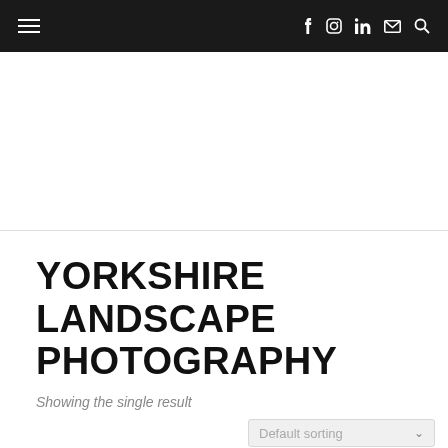Navigation bar with hamburger menu, social icons (f, Instagram, in, mail), and search icon
YORKSHIRE LANDSCAPE PHOTOGRAPHY
Showing the single result
Default sorting